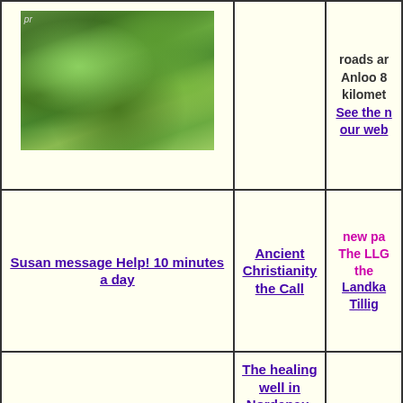[Figure (photo): Photo of lush green vegetation/bushes in natural setting]
roads ar... Anloo 8 kilomet... See the n... our web...
Susan message Help! 10 minutes a day
Ancient Christianity the Call
new pa... The LLG... the Landka... Tillig...
An important update of the secret history of climate change!
The healing well in Nordenau, Sauerland, Germany revisited by Robert and Susan with exciting scientific results!
updat... The Gode... Christia...